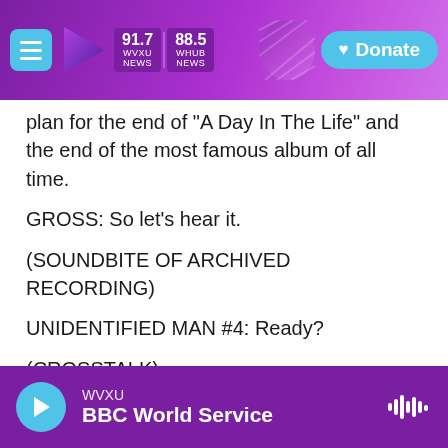WVXU 91.7 NEWS / 88.5 WHUB NEWS — Donate
plan for the end of "A Day In The Life" and the end of the most famous album of all time.
GROSS: So let's hear it.
(SOUNDBITE OF ARCHIVED RECORDING)
UNIDENTIFIED MAN #4: Ready?
(CROSSTALK)
UNIDENTIFIED MAN #5: Stop freaking out, missus.
WVXU — BBC World Service